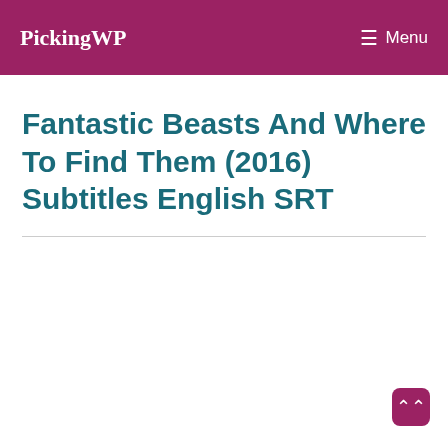PickingWP   ☰ Menu
Fantastic Beasts And Where To Find Them (2016) Subtitles English SRT